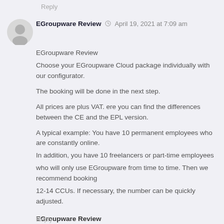Reply
EGroupware Review  April 19, 2021 at 7:09 am
EGroupware Review
Choose your EGroupware Cloud package individually with our configurator.

The booking will be done in the next step.

All prices are plus VAT. ere you can find the differences between the CE and the EPL version.

A typical example: You have 10 permanent employees who are constantly online.
In addition, you have 10 freelancers or part-time employees
who will only use EGroupware from time to time. Then we recommend booking
12-14 CCUs. If necessary, the number can be quickly adjusted.

EGroupware Review
Reply